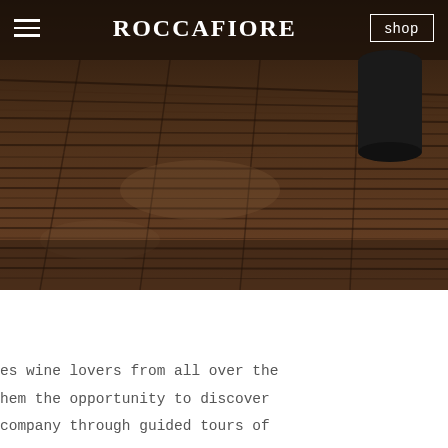[Figure (photo): Overhead photo of a rustic wooden floor/deck with dark brown weathered wooden planks. A dark cylindrical object (possibly a bucket or container) is visible in the upper right area. The ROCCAFIORE brand name and navigation are overlaid on the image.]
≡   ROCCAFIORE   shop
es wine lovers from all over the hem the opportunity to discover company through guided tours of